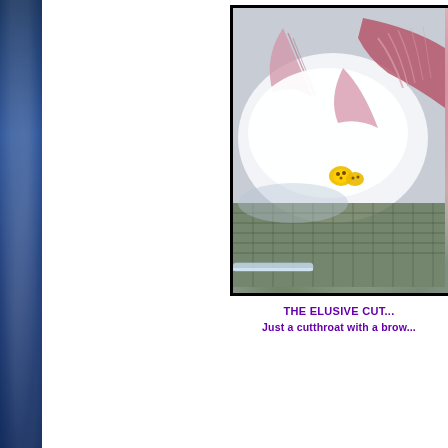[Figure (photo): Close-up photograph of a cutthroat trout with a brown, showing the fish's mouth open revealing pink/red gills and fins, with a small yellow object visible. The fish appears to be in a white container or tray with greenish-gray netting/surface below.]
THE ELUSIVE CUT... Just a cutthroat with a brow...